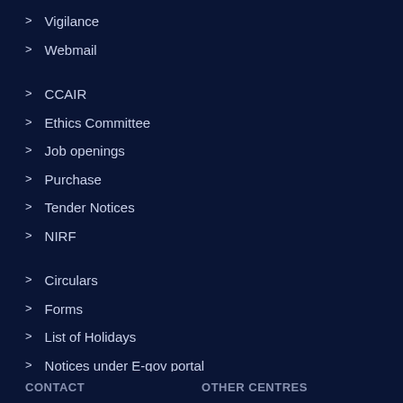Vigilance
Webmail
CCAIR
Ethics Committee
Job openings
Purchase
Tender Notices
NIRF
Circulars
Forms
List of Holidays
Notices under E-gov portal
Rajbhasha Vibhag
CONTACT   OTHER CENTRES